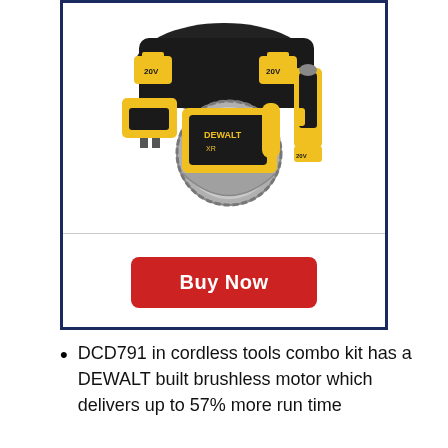[Figure (photo): DEWALT cordless tools combo kit including circular saw, drill/driver, batteries, charger, and bag, displayed on white background]
Buy Now
DCD791 in cordless tools combo kit has a DEWALT built brushless motor which delivers up to 57% more run time